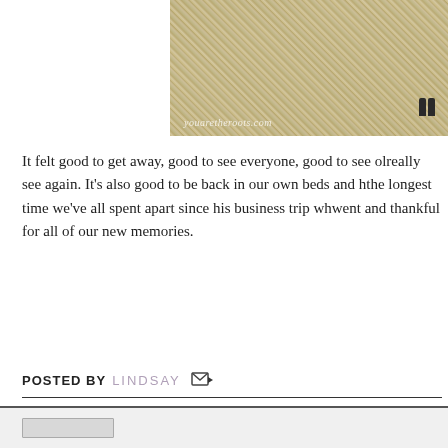[Figure (photo): Photo of a person standing in a large pile of grain/wheat, with feet and lower body visible, wearing a purple/blue skirt. Watermark reads 'youaretheroots.com']
It felt good to get away, good to see everyone, good to see ol- really see again. It's also good to be back in our own beds and h- the longest time we've all spent apart since his business trip wh- went and thankful for all of our new memories.
POSTED BY LINDSAY